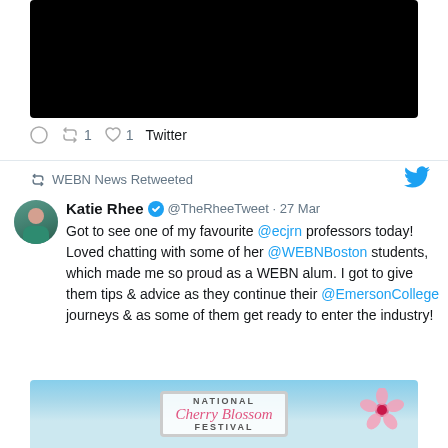[Figure (photo): Black video/image thumbnail area at the top of a tweet]
○  ↺1  ♡1  Twitter
↺  WEBN News Retweeted
[Figure (photo): Profile photo of Katie Rhee wearing a teal top]
Katie Rhee ✓ @TheRheeTweet · 27 Mar
Got to see one of my favourite @ecjrn professors today! Loved chatting with some of her @WEBNBoston students, which made me so proud as a WEBN alum. I got to give them tips & advice as they continue their @EmersonCollege journeys & as some of them get ready to enter the industry!
[Figure (photo): National Cherry Blossom Festival sign with cherry blossom decorations and blue sky background]